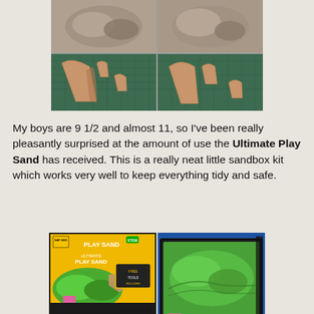[Figure (photo): Four-panel photo grid showing plastic shark teeth/fossil replicas on a green cutting mat surface]
My boys are 9 1/2 and almost 11, so I've been really pleasantly surprised at the amount of use the Ultimate Play Sand has received. This is a really neat little sandbox kit which works very well to keep everything tidy and safe.
[Figure (photo): Product photo showing National Geographic Ultimate Play Sand box on the left (yellow and black packaging with green sand) and the open tray on the right containing bright green kinetic sand and pink mold pieces]
The tray in the Ultimate Play Sand kit is plastic, but it is also